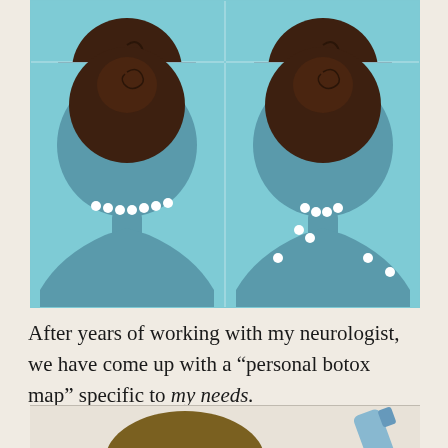[Figure (illustration): Four-panel medical illustration showing the back of a person's head and neck with white dots indicating botox injection points. Top row shows two cropped head images from behind. Bottom row shows full back-of-head views with hair in a bun; left panel has injection dots along the base of skull in a row, right panel has injection dots scattered more toward neck and shoulders.]
After years of working with my neurologist, we have come up with a “personal botox map” specific to my needs.
[Figure (photo): Partially visible image at bottom of page showing what appears to be a head from above and a blue medical syringe or device on the right.]